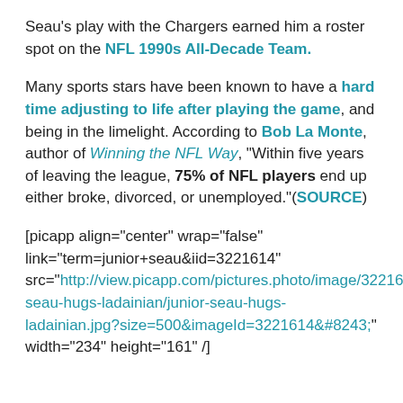Seau's play with the Chargers earned him a roster spot on the NFL 1990s All-Decade Team.
Many sports stars have been known to have a hard time adjusting to life after playing the game, and being in the limelight. According to Bob La Monte, author of Winning the NFL Way, "Within five years of leaving the league, 75% of NFL players end up either broke, divorced, or unemployed."(SOURCE)
[picapp align="center" wrap="false" link="term=junior+seau&iid=3221614" src="http://view.picapp.com/pictures.photo/image/3221614/junior-seau-hugs-ladainian/junior-seau-hugs-ladainian.jpg?size=500&imageId=3221614&#8243; width="234" height="161" /]